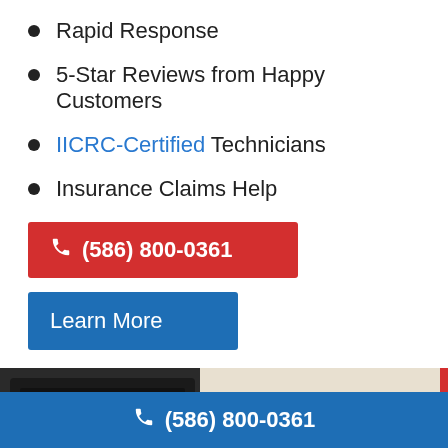Rapid Response
5-Star Reviews from Happy Customers
IICRC-Certified Technicians
Insurance Claims Help
(586) 800-0361
Learn More
[Figure (photo): Kitchen scene showing oven on left, kitchen utensils hanging on wall in background]
(586) 800-0361